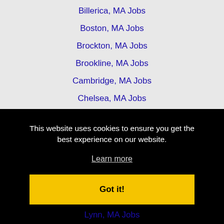Billerica, MA Jobs
Boston, MA Jobs
Brockton, MA Jobs
Brookline, MA Jobs
Cambridge, MA Jobs
Chelsea, MA Jobs
Chicopee, MA Jobs
Concord, NH Jobs
Cranston, RI Jobs
East Hartford, CT Jobs
This website uses cookies to ensure you get the best experience on our website.
Learn more
Got it!
Lynn, MA Jobs